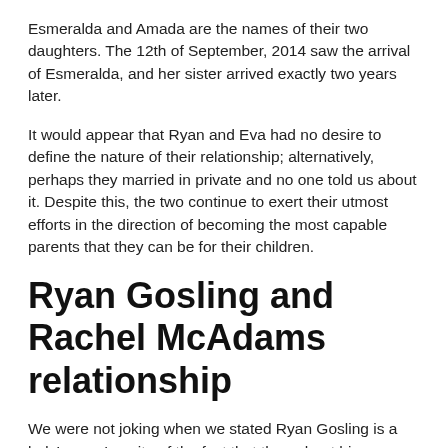Esmeralda and Amada are the names of their two daughters. The 12th of September, 2014 saw the arrival of Esmeralda, and her sister arrived exactly two years later.
It would appear that Ryan and Eva had no desire to define the nature of their relationship; alternatively, perhaps they married in private and no one told us about it. Despite this, the two continue to exert their utmost efforts in the direction of becoming the most capable parents that they can be for their children.
Ryan Gosling and Rachel McAdams relationship
We were not joking when we stated Ryan Gosling is a lady’s guy. In spite of the fact that throughout his career as an actor he has only had three serious partnerships, other women have been linked to him and have had brief encounters with him. Before he gets serious with Eva